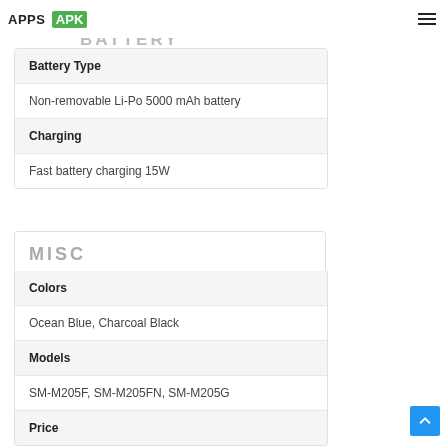APPS APK
BATTERY
| Battery Type |  |
| Non-removable Li-Po 5000 mAh battery |  |
| Charging |  |
| Fast battery charging 15W |  |
MISC
| Colors |  |
| Ocean Blue, Charcoal Black |  |
| Models |  |
| SM-M205F, SM-M205FN, SM-M205G |  |
| Price |  |